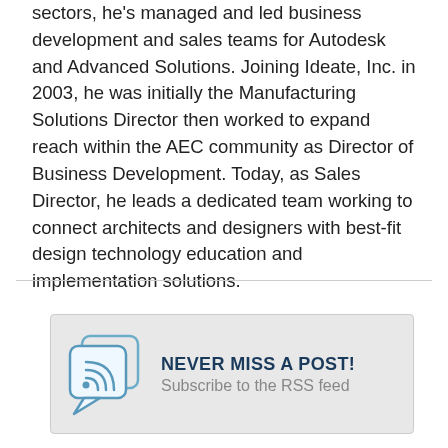sectors, he's managed and led business development and sales teams for Autodesk and Advanced Solutions. Joining Ideate, Inc. in 2003, he was initially the Manufacturing Solutions Director then worked to expand reach within the AEC community as Director of Business Development. Today, as Sales Director, he leads a dedicated team working to connect architects and designers with best-fit design technology education and implementation solutions.
[Figure (infographic): RSS feed subscription banner with two overlapping speech bubble icons containing RSS signal symbol, bold dark blue headline 'NEVER MISS A POST!' and gray subtext 'Subscribe to the RSS feed' on a light gray background.]